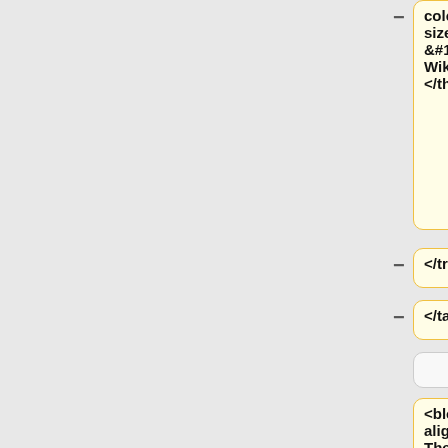color="#FFFFFF" size="+3">GEOS&#150;Chem Wiki</font></p> </th>
</tr>
</table>
<blockquote><p align="justify"> The [http://acmg.seas.harvard.edu/geos/ GEOS-Chem model] is a global 3-D model of atmospheric composition driven by
{}